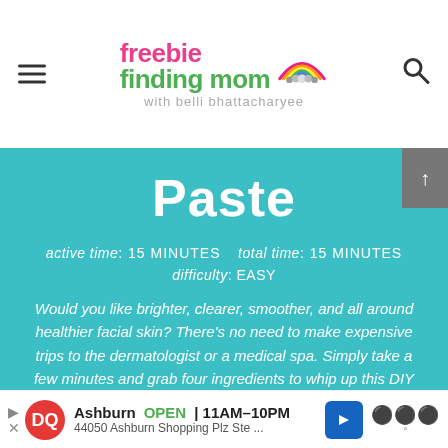freebie finding mom with belli bhattacharyee
Paste
active time: 15 MINUTES   total time: 15 MINUTES
difficulty: EASY
Would you like brighter, clearer, smoother, and all around healthier facial skin? There's no need to make expensive trips to the dermatologist or a medical spa. Simply take a few minutes and grab four ingredients to whip up this DIY microdermabrasion paste. This homemade beauty product will help treat fine lines, blemishes, and
[Figure (other): Advertisement banner for Dairy Queen: Ashburn OPEN 11AM-10PM, 44050 Ashburn Shopping Plz Ste...]